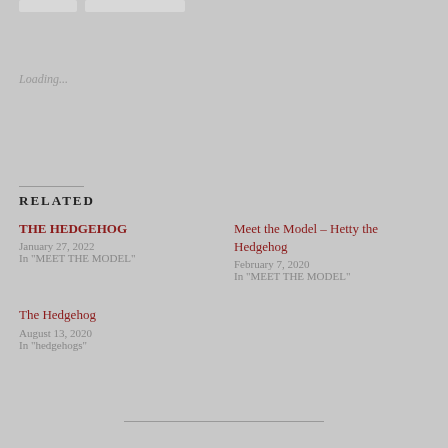Loading...
RELATED
THE HEDGEHOG
January 27, 2022
In "MEET THE MODEL"
Meet the Model – Hetty the Hedgehog
February 7, 2020
In "MEET THE MODEL"
The Hedgehog
August 13, 2020
In "hedgehogs"